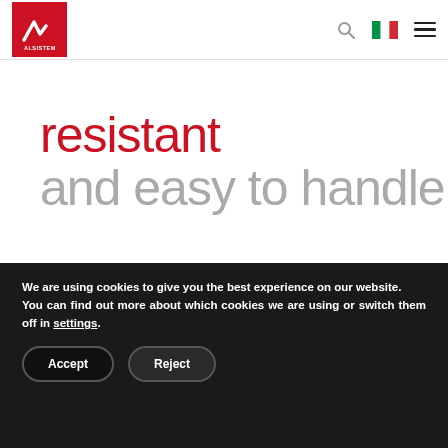[Figure (logo): Alsistem logo — white stylized 'A' mark on red square background, with 'ALSISTEM' text below in white]
resistant
and easy to handle
We are using cookies to give you the best experience on our website.
You can find out more about which cookies we are using or switch them off in settings.
Accept   Reject